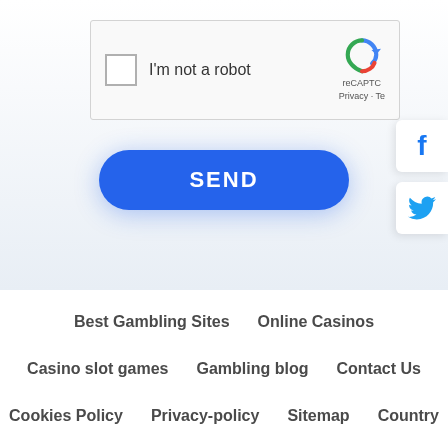[Figure (screenshot): reCAPTCHA checkbox widget with 'I'm not a robot' label and reCAPTCHA logo on the right]
[Figure (screenshot): Blue rounded SEND button]
[Figure (screenshot): Social media sidebar icons: Facebook (f), Twitter bird, Google+ (G+)]
Best Gambling Sites
Online Casinos
Casino slot games
Gambling blog
Contact Us
Cookies Policy
Privacy-policy
Sitemap
Country